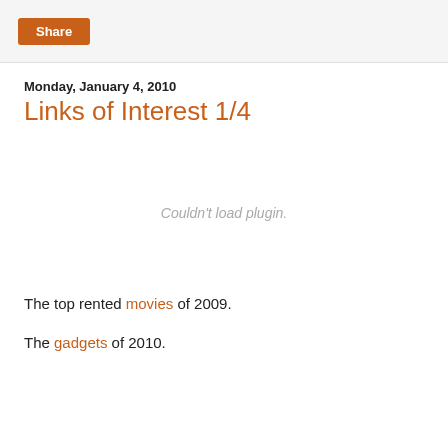Share
Monday, January 4, 2010
Links of Interest 1/4
[Figure (other): Embedded plugin placeholder showing 'Couldn't load plugin.']
The top rented movies of 2009.
The gadgets of 2010.